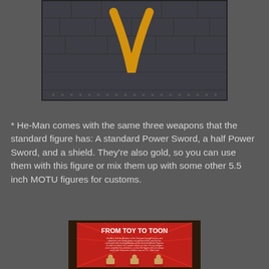[Figure (photo): Close-up photo of dark gray/charcoal armor or surface with yellow/gold curved stripe or symbol visible]
* He-Man comes with the same three weapons that the standard figure has: A standard Power Sword, a half Power Sword, and a shield. They’re also gold, so you can use them with this figure or mix them up with some other 5.5 inch MOTU figures for customs.
[Figure (photo): Photo of a museum or exhibit display panel with red background titled 'FROM TOY TO TOON' showing Masters of the Universe action figures and explanatory text]